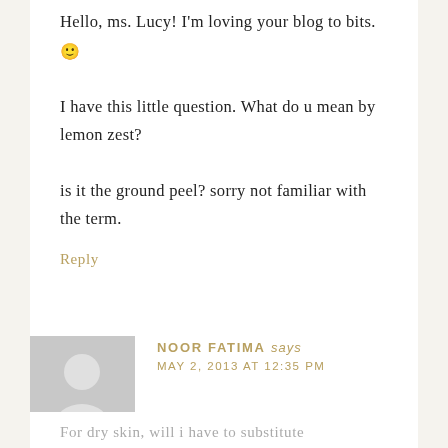Hello, ms. Lucy! I'm loving your blog to bits. 🙂 I have this little question. What do u mean by lemon zest? is it the ground peel? sorry not familiar with the term.
Reply
[Figure (illustration): Generic grey avatar silhouette placeholder image]
NOOR FATIMA says
MAY 2, 2013 AT 12:35 PM
For dry skin, will i have to substitute